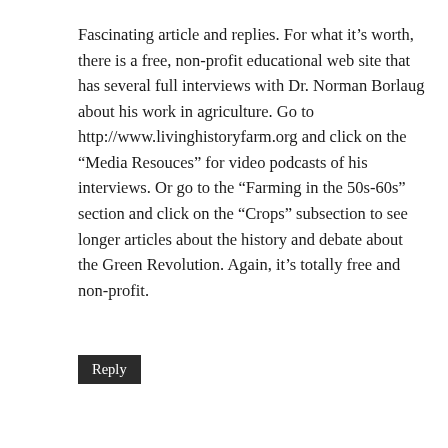Fascinating article and replies. For what it’s worth, there is a free, non-profit educational web site that has several full interviews with Dr. Norman Borlaug about his work in agriculture. Go to http://www.livinghistoryfarm.org and click on the “Media Resouces” for video podcasts of his interviews. Or go to the “Farming in the 50s-60s” section and click on the “Crops” subsection to see longer articles about the history and debate about the Green Revolution. Again, it’s totally free and non-profit.
Reply